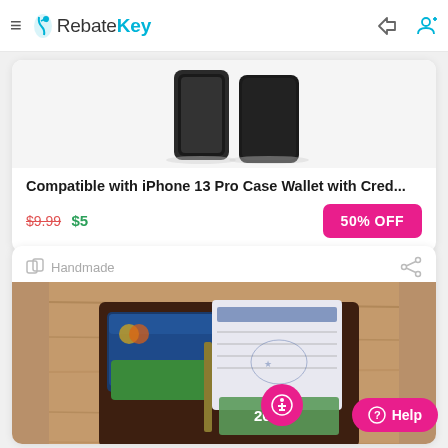RebateKey — hamburger menu, logo, sign-in and sign-up icons
[Figure (photo): iPhone 13 Pro case wallet with credit card holder — dark leather case with phone, product image on light grey background]
Compatible with iPhone 13 Pro Case Wallet with Cred...
$9.99  $5   50% OFF
Handmade
[Figure (photo): Open dark brown leather bifold wallet showing credit cards, cash, and a check on a wooden table surface]